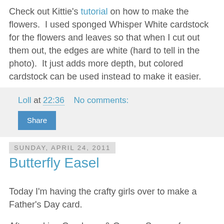Check out Kittie's tutorial on how to make the flowers.  I used sponged Whisper White cardstock for the flowers and leaves so that when I cut out them out, the edges are white (hard to tell in the photo).  It just adds more depth, but colored cardstock can be used instead to make it easier.
Loll at 22:36    No comments:
Share
Sunday, April 24, 2011
Butterfly Easel
Today I'm having the crafty girls over to make a Father's Day card.
After making Cranberry & Orange Scones for my hubby for breakfast (yum!!), I headed to the art studio.  The girls weren't coming for a couple of hours, so I thought I'd make a